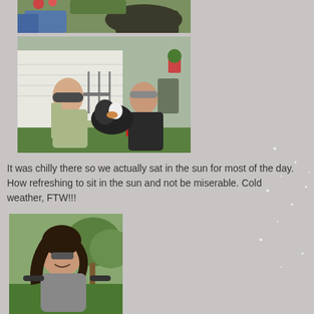[Figure (photo): Partial photo of person sitting outdoors with a dog visible, cropped at top]
[Figure (photo): Two women sitting outside in lawn chairs with a black and white dog between them, house in background]
It was chilly there so we actually sat in the sun for most of the day. How refreshing to sit in the sun and not be miserable. Cold weather, FTW!!!
[Figure (photo): Young woman with dark curly hair leaning forward playfully outdoors with trees in background]